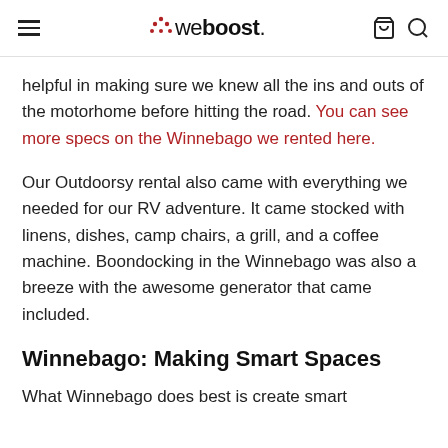weboost
helpful in making sure we knew all the ins and outs of the motorhome before hitting the road. You can see more specs on the Winnebago we rented here.
Our Outdoorsy rental also came with everything we needed for our RV adventure. It came stocked with linens, dishes, camp chairs, a grill, and a coffee machine. Boondocking in the Winnebago was also a breeze with the awesome generator that came included.
Winnebago: Making Smart Spaces
What Winnebago does best is create smart